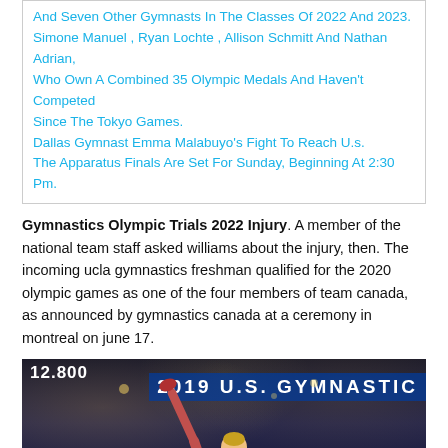And Seven Other Gymnasts In The Classes Of 2022 And 2023.
Simone Manuel , Ryan Lochte , Allison Schmitt And Nathan Adrian, Who Own A Combined 35 Olympic Medals And Haven’t Competed Since The Tokyo Games.
Dallas Gymnast Emma Malabuyo’s Fight To Reach U.s.
The Apparatus Finals Are Set For Sunday, Beginning At 2:30 Pm.
Gymnastics Olympic Trials 2022 Injury. A member of the national team staff asked williams about the injury, then. The incoming ucla gymnastics freshman qualified for the 2020 olympic games as one of the four members of team canada, as announced by gymnastics canada at a ceremony in montreal on june 17.
[Figure (photo): A gymnast performing at the 2019 U.S. Gymnastics Championships, captured mid-routine with one leg raised high, wearing a red and blue competition outfit. Score 12.800 visible in the top left, arena crowd visible in background.]